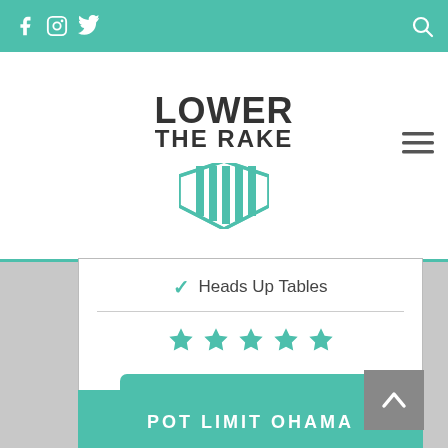Lower The Rake — navigation bar with social icons and logo
[Figure (logo): Lower The Rake logo with shield and teal stripes]
✓ Heads Up Tables
[Figure (other): 5 teal star rating icons]
Play Now!
POT LIMIT OHAMA